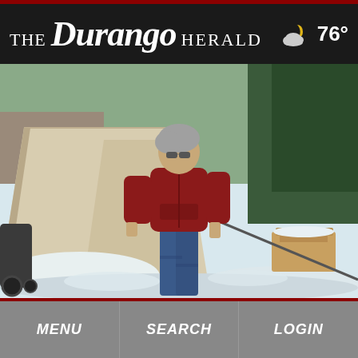THE Durango HERALD
76°
[Figure (photo): A woman with gray hair wearing a dark red hoodie and jeans walks through a snowy outdoor camp area next to a large canvas tent. There are snow-covered rocks and cardboard boxes visible in the background with pine trees.]
MENU   SEARCH   LOGIN